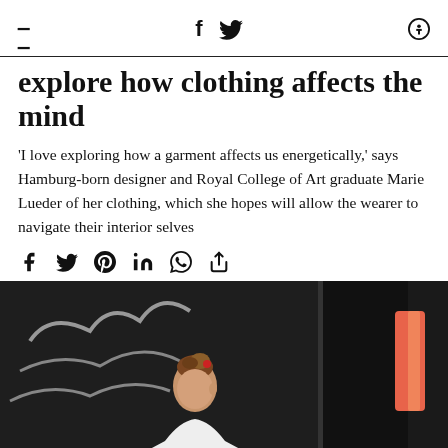≡   f   𝕏   🔍
explore how clothing affects the mind
'I love exploring how a garment affects us energetically,' says Hamburg-born designer and Royal College of Art graduate Marie Lueder of her clothing, which she hopes will allow the wearer to navigate their interior selves
[Figure (other): Social share icons: Facebook, Twitter, Pinterest, LinkedIn, WhatsApp, share arrow]
[Figure (photo): A person with an updo hairstyle wearing white clothing, photographed against a dark textured background with white graffiti-like marks and a pink/orange element to the right.]